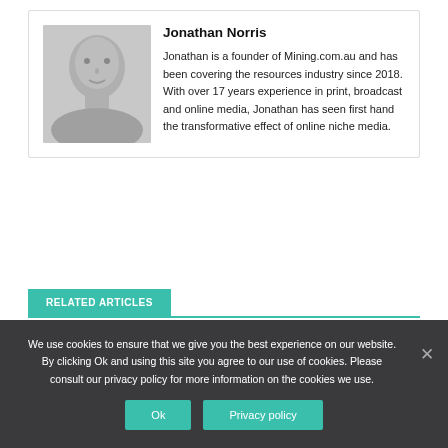[Figure (photo): Grayscale headshot photo of Jonathan Norris]
Jonathan Norris
Jonathan is a founder of Mining.com.au and has been covering the resources industry since 2018. With over 17 years experience in print, broadcast and online media, Jonathan has seen first hand the transformative effect of online niche media.
RELATED ARTICLES
Boke completes drilling
We use cookies to ensure that we give you the best experience on our website. By clicking Ok and using this site you agree to our use of cookies. Please consult our privacy policy for more information on the cookies we use.
Ok
Privacy policy